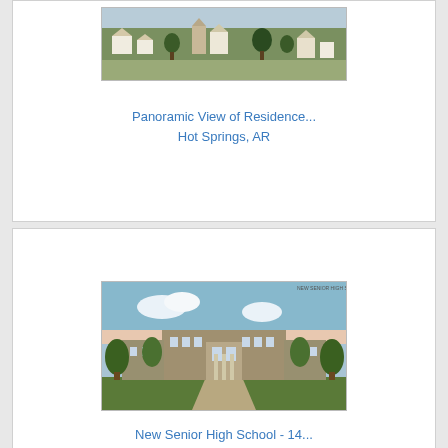[Figure (photo): Panoramic view of residences in Hot Springs, AR — vintage postcard image showing a town with white houses and trees on a hillside]
Panoramic View of Residence...
Hot Springs, AR
[Figure (photo): Vintage postcard illustration of New Senior High School building in Hot Springs, AR — large stone/brick building with trees in front]
New Senior High School - 14...